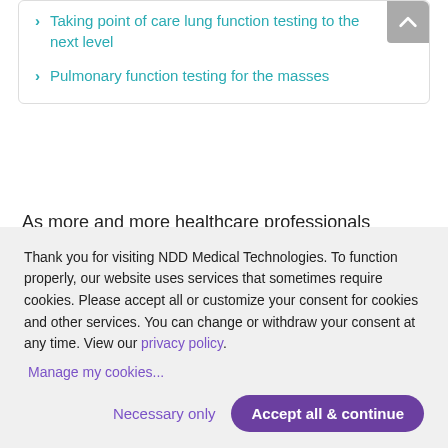Taking point of care lung function testing to the next level
Pulmonary function testing for the masses
As more and more healthcare professionals receive their vaccine doses, it's a bit easier to start looking ahead to how...
Thank you for visiting NDD Medical Technologies. To function properly, our website uses services that sometimes require cookies. Please accept all or customize your consent for cookies and other services. You can change or withdraw your consent at any time. View our privacy policy.
Manage my cookies...
Necessary only
Accept all & continue